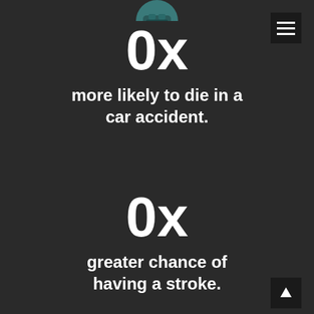[Figure (infographic): Teal circular car/vehicle icon at top center, partially cropped]
[Figure (infographic): Hamburger menu button in top right corner]
0x
more likely to die in a car accident.
0x
greater chance of having a stroke.
[Figure (infographic): Up arrow button in bottom right corner]